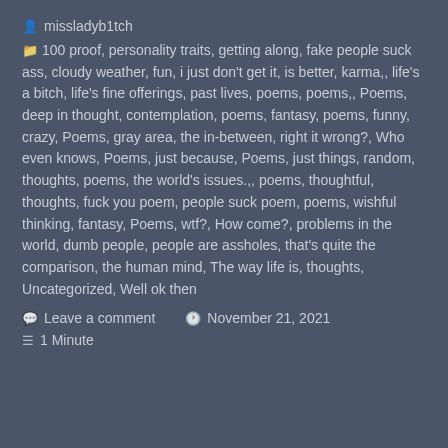missladyb1tch
100 proof, personality traits, getting along, fake people suck ass, cloudy weather, fun, i just don't get it, is better, karma,, life's a bitch, life's fine offerings, past lives, poems, poems,, Poems, deep in thought, contemplation, poems, fantasy, poems, funny, crazy, Poems, gray area, the in-between, right it wrong?, Who even knows, Poems, just because, Poems, just things, random, thoughts, poems, the world's issues.,, poems, thoughtful, thoughts, fuck you poem, people suck poem, poems, wishful thinking, fantasy, Poems, wtf?, How come?, problems in the world, dumb people, people are assholes, that's quite the comparison, the human mind, The way life is, thoughts, Uncategorized, Well ok then
Leave a comment   November 21, 2021
1 Minute